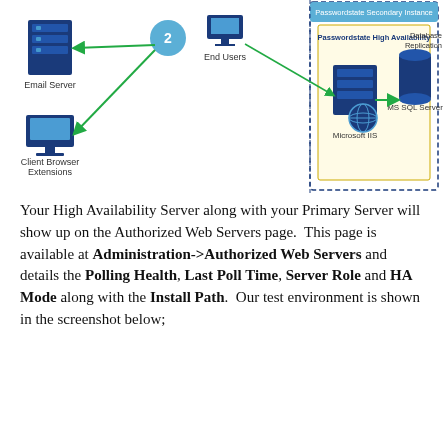[Figure (network-graph): Network diagram showing High Availability setup: End Users (step 2) connecting left to Email Server and Client Browser Extensions, and right via dashed border to Passwordstate Secondary Instance box containing Passwordstate High Availability label, Microsoft IIS server icon and MS SQL Server icon connected by green arrow. Database Replication label on far right.]
Your High Availability Server along with your Primary Server will show up on the Authorized Web Servers page.  This page is available at Administration->Authorized Web Servers and details the Polling Health, Last Poll Time, Server Role and HA Mode along with the Install Path.  Our test environment is shown in the screenshot below;